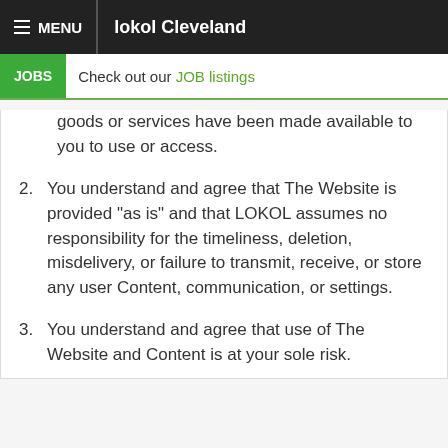MENU | lokol Cleveland
JOBS  Check out our JOB listings
goods or services have been made available to you to use or access.
2. You understand and agree that The Website is provided "as is" and that LOKOL assumes no responsibility for the timeliness, deletion, misdelivery, or failure to transmit, receive, or store any user Content, communication, or settings.
3. You understand and agree that use of The Website and Content is at your sole risk.